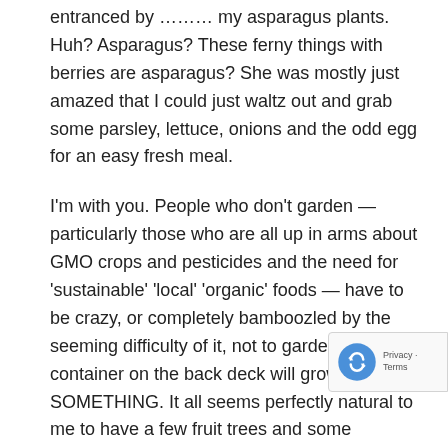entranced by ……… my asparagus plants. Huh? Asparagus? These ferny things with berries are asparagus? She was mostly just amazed that I could just waltz out and grab some parsley, lettuce, onions and the odd egg for an easy fresh meal.
I'm with you. People who don't garden — particularly those who are all up in arms about GMO crops and pesticides and the need for 'sustainable' 'local' 'organic' foods — have to be crazy, or completely bamboozled by the seeming difficulty of it, not to garden. A container on the back deck will grow SOMETHING. It all seems perfectly natural to me to have a few fruit trees and some strawberry bushes and lots of volunteer greens. My mother & grandparents DID garden, but I'm old enough to be a child of Depression/WW folks. Now I realize how lucky I was. And I try encourage those who didn't have these genes & role